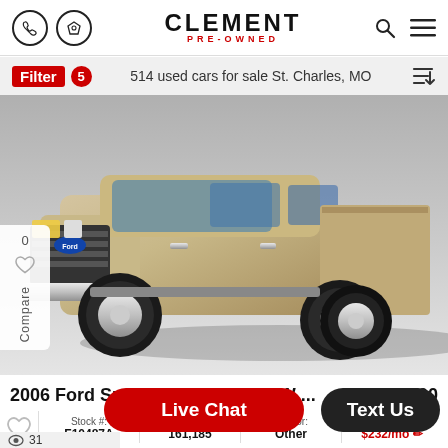CLEMENT PRE-OWNED
Filter 5 — 514 used cars for sale St. Charles, MO
[Figure (photo): A gold/tan 2006 Ford Super Duty F-350 DRW pickup truck, front three-quarter view, shown against a gray gradient background.]
2006 Ford Super Duty F-350 DRW ...   $16,000
| Stock #: | Miles: | Interior: | Est. payment: |
| --- | --- | --- | --- |
| F10487A | 161,185 | Other | $232/mo |
Live Chat   Text Us
👁 31